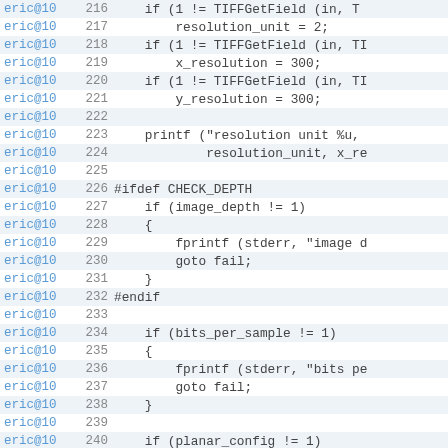[Figure (screenshot): Source code viewer showing C code lines 216-240 with blame annotations (eric@10) and line numbers. Alternating row background colors (light blue/white). Code includes TIFF field reading, printf, ifdef CHECK_DEPTH block, and bits_per_sample checks.]